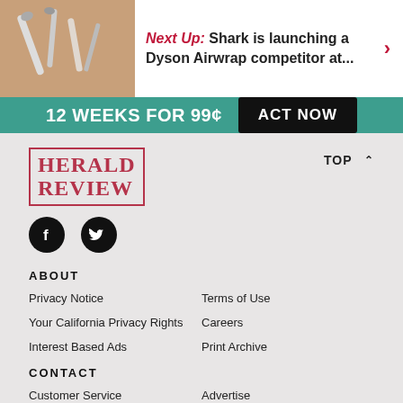[Figure (photo): Promotional image for Shark Dyson Airwrap competitor article - appears to show beauty/hair tools on a coral background]
Next Up: Shark is launching a Dyson Airwrap competitor at...
12 WEEKS FOR 99¢  ACT NOW
[Figure (logo): Herald Review newspaper logo in red serif font with border]
TOP ^
[Figure (other): Social media icons - Facebook and Twitter (circular black icons)]
ABOUT
Privacy Notice
Terms of Use
Your California Privacy Rights
Careers
Interest Based Ads
Print Archive
CONTACT
Customer Service
Advertise